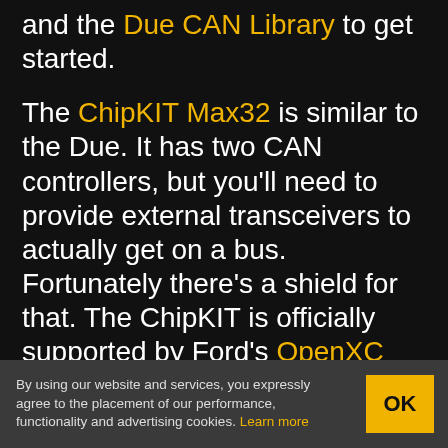and the Due CAN Library to get started.
The ChipKIT Max32 is similar to the Due. It has two CAN controllers, but you'll need to provide external transceivers to actually get on a bus. Fortunately there's a shield for that. The ChipKIT is officially supported by Ford's OpenXC Platform, so you can grab their firmware.
That concludes our discussion of CAN Hacking. Hopefully you're now ready to go out and experiment with the protocol. If you
By using our website and services, you expressly agree to the placement of our performance, functionality and advertising cookies. Learn more